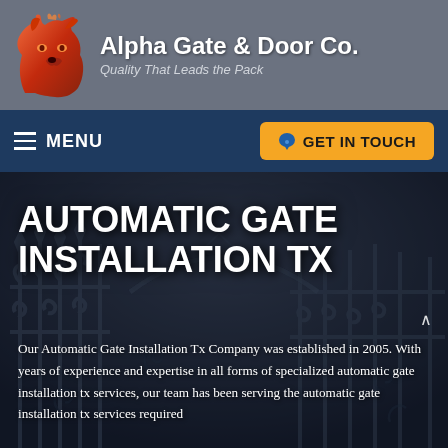Alpha Gate & Door Co. — Quality That Leads the Pack
AUTOMATIC GATE INSTALLATION TX
Our Automatic Gate Installation Tx Company was established in 2005. With years of experience and expertise in all forms of specialized automatic gate installation tx services, our team has been serving the automatic gate installation tx services required